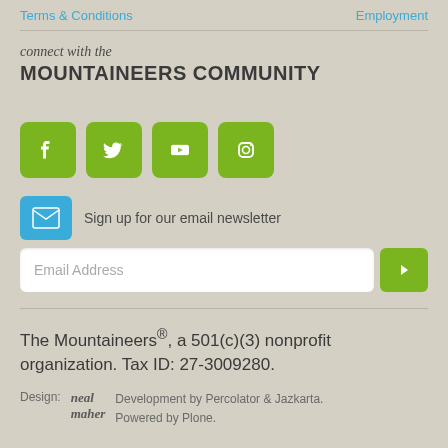Terms & Conditions    Employment
connect with the
MOUNTAINEERS COMMUNITY
[Figure (other): Social media icons: Facebook, Twitter, YouTube, Instagram (green rounded square buttons)]
Sign up for our email newsletter
[Figure (other): Email address input field with green submit arrow button]
The Mountaineers®, a 501(c)(3) nonprofit organization. Tax ID: 27-3009280.
Design: neal maher  Development by Percolator & Jazkarta. Powered by Plone.